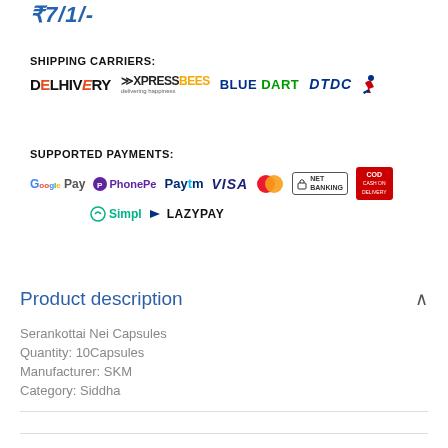₹7/1/-
SHIPPING CARRIERS:
[Figure (logo): Shipping carrier logos: Delhivery, XpressBees, Blue Dart, DTDC]
SUPPORTED PAYMENTS:
[Figure (logo): Payment logos: G Pay, PhonePe, Paytm, VISA, MasterCard, Net Banking, COD, Simpl, LazyPay]
Product description
Serankottai Nei Capsules
Quantity: 10Capsules
Manufacturer: SKM
Category: Siddha